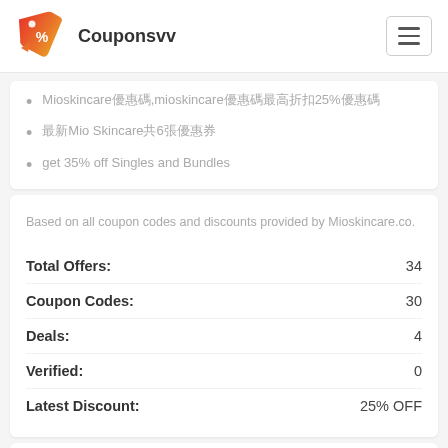Couponsvv
Mioskincare優惠碼,mioskincare優惠碼最高折扣25%優惠碼
最新Mio Skincare共6張優惠券
get 35% off Singles and Bundles
Based on all coupon codes and discounts provided by Mioskincare.co.
|  |  |
| --- | --- |
| Total Offers: | 34 |
| Coupon Codes: | 30 |
| Deals: | 4 |
| Verified: | 0 |
| Latest Discount: | 25% OFF |